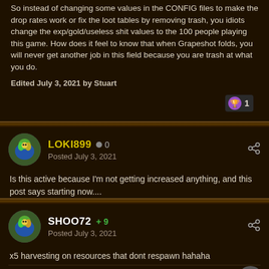So instead of changing some values in the CONFIG files to make the drop rates work or fix the loot tables by removing trash, you idiots change the exp/gold/useless shit values to the 100 people playing this game. How does it feel to know that when Grapeshot folds, you will never get another job in this field because you are trash at what you do.
Edited July 3, 2021 by Stuart
LOKI899  0
Posted July 3, 2021
Is this active because I'm not getting increased anything, and this post says starting now....
SHOO72  +9
Posted July 3, 2021
x5 harvesting on resources that dont respawn hahaha
worst company ever in game history, never seen so many incompetent